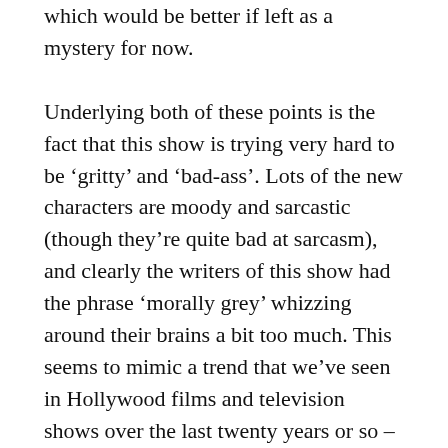which would be better if left as a mystery for now.
Underlying both of these points is the fact that this show is trying very hard to be ‘gritty’ and ‘bad-ass’. Lots of the new characters are moody and sarcastic (though they’re quite bad at sarcasm), and clearly the writers of this show had the phrase ‘morally grey’ whizzing around their brains a bit too much. This seems to mimic a trend that we’ve seen in Hollywood films and television shows over the last twenty years or so – for grittier, grungier worlds. It works fine for things like the Dark Knight trilogy, but it’s somewhat antithetical to Star Trek. The world depicted in this show does not seem like the same world as in classic Star Trek